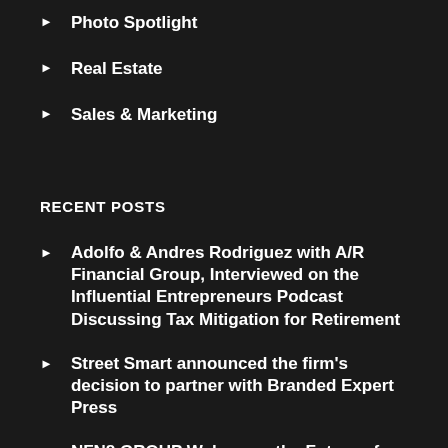Photo Spotlight
Real Estate
Sales & Marketing
RECENT POSTS
Adolfo & Andres Rodriguez with A/R Financial Group, Interviewed on the Influential Entrepreneurs Podcast Discussing Tax Mitigation for Retirement
Street Smart announced the firm's decision to partner with Branded Expert Press
NFN8 GROUP Welcomes the Future of Digital Currency Mining to the U.S.